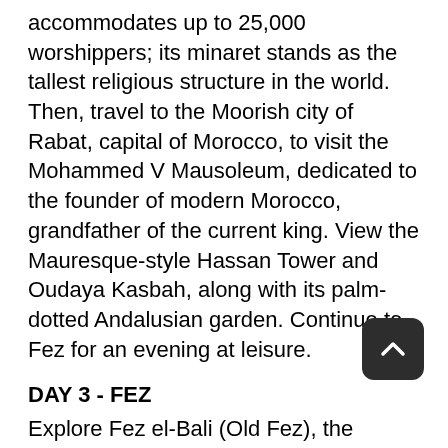accommodates up to 25,000 worshippers; its minaret stands as the tallest religious structure in the world. Then, travel to the Moorish city of Rabat, capital of Morocco, to visit the Mohammed V Mausoleum, dedicated to the founder of modern Morocco, grandfather of the current king. View the Mauresque-style Hassan Tower and Oudaya Kasbah, along with its palm-dotted Andalusian garden. Continue to Fez for an evening at leisure.
DAY 3 - FEZ
Explore Fez el-Bali (Old Fez), the cultural heart of Morocco. Founded in the eighth century by Moulay Idris I, this imperial capital was a renowned center of medieval learning. Stroll the lanes and souks of the old quarter. Proceed to the intricately detailed Karaouine. Built in 859 AD, it is one of the oldest still-functioning universities in the world. You also visit Nejjarine Square before continuing to Fez el-Jadid